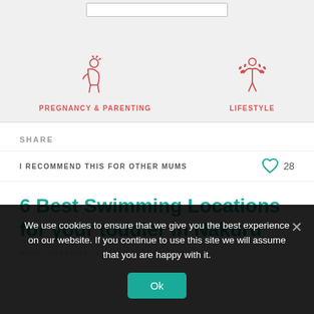[Figure (illustration): Pregnancy icon - woman figure in red/coral color with decorative elements above]
PREGNANCY & PARENTING
[Figure (illustration): Lifestyle icon - abstract person with raised arms and leaf/plant elements in red/coral color]
LIFESTYLE
SHARE
I RECOMMEND THIS FOR OTHER MUMS
6 Best Swimming Locations for your toddler in Nakuru
HOME · LIFESTYLE · 6 BEST SWIMMING LOCATIONS
We use cookies to ensure that we give you the best experience on our website. If you continue to use this site we will assume that you are happy with it.